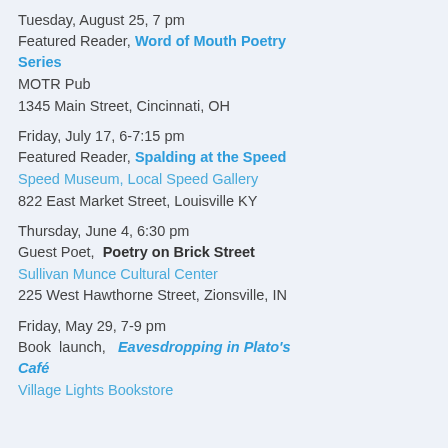Tuesday, August 25, 7 pm
Featured Reader, Word of Mouth Poetry Series
MOTR Pub
1345 Main Street, Cincinnati, OH
Friday, July 17, 6-7:15 pm
Featured Reader, Spalding at the Speed
Speed Museum, Local Speed Gallery
822 East Market Street, Louisville KY
Thursday, June 4, 6:30 pm
Guest Poet, Poetry on Brick Street
Sullivan Munce Cultural Center
225 West Hawthorne Street, Zionsville, IN
Friday, May 29, 7-9 pm
Book launch, Eavesdropping in Plato's Café
Village Lights Bookstore
119 E Main St, Madison, IN